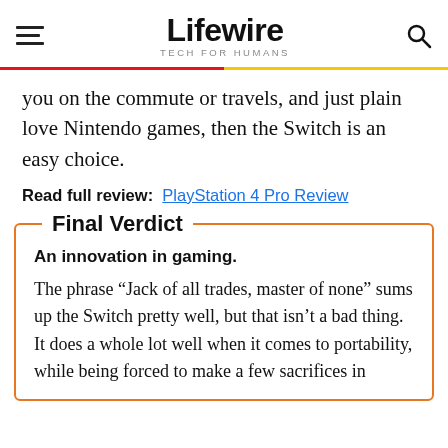Lifewire — TECH FOR HUMANS
you on the commute or travels, and just plain love Nintendo games, then the Switch is an easy choice.
Read full review: PlayStation 4 Pro Review
Final Verdict
An innovation in gaming.
The phrase “Jack of all trades, master of none” sums up the Switch pretty well, but that isn’t a bad thing. It does a whole lot well when it comes to portability, while being forced to make a few sacrifices in